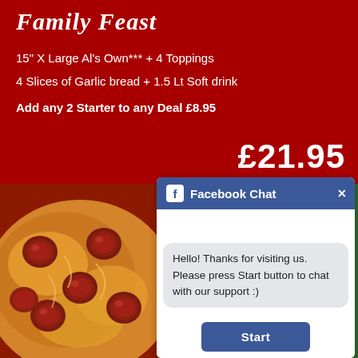Family Feast
15" X Large Al's Own***  + 4 Toppings
4 Slices of Garlic bread + 1.5 Lt Soft drink
Add any 2 Starter to any Deal £8.95
£21.95
[Figure (photo): Close-up photo of a pepperoni pizza with melted cheese]
Facebook Chat
Hello! Thanks for visiting us. Please press Start button to chat with our support :)
Start